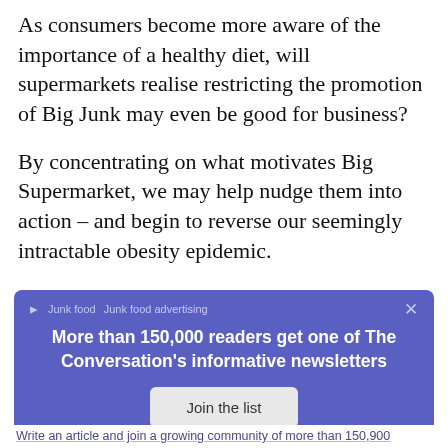As consumers become more aware of the importance of a healthy diet, will supermarkets realise restricting the promotion of Big Junk may even be good for business?
By concentrating on what motivates Big Supermarket, we may help nudge them into action – and begin to reverse our seemingly intractable obesity epidemic.
[Figure (infographic): Promotional newsletter signup box with purple background, tag icon, 'Junk food' and 'Junk food advertising' labels, close button (×), bold white headline 'More than 150,000 readers get one of The Conversation's informative newsletters', a 'Join the list' button, and 'Want to write?' text]
Write an article and join a growing community of more than 150,900